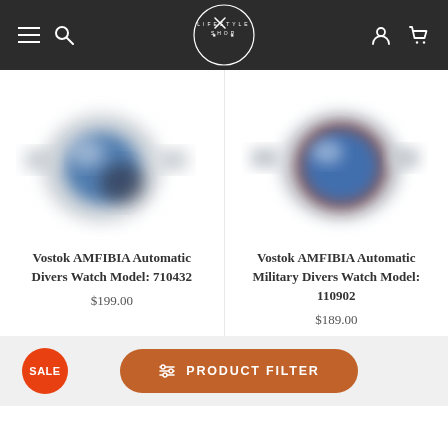Lifestyle Shop navigation header with hamburger menu, search, logo, account and cart icons
[Figure (photo): Vostok AMFIBIA Automatic Divers Watch Model 710432 product photo — blurred watch with blue dial and silver bracelet]
Vostok AMFIBIA Automatic Divers Watch Model: 710432
$199.00
[Figure (photo): Vostok AMFIBIA Automatic Military Divers Watch Model 110902 product photo — blurred watch with blue dial and silver bracelet]
Vostok AMFIBIA Automatic Military Divers Watch Model: 110902
$189.00
PRODUCT FILTER
SALE